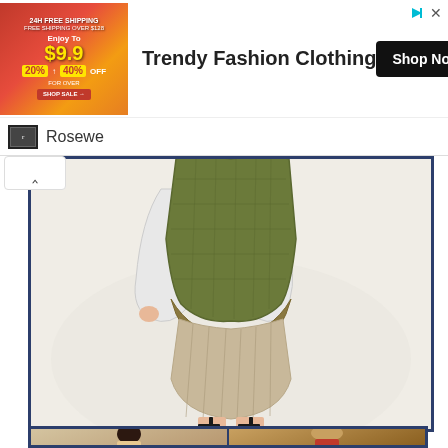[Figure (screenshot): Advertisement banner for Rosewe trendy fashion clothing. Left side shows a red/orange promotional graphic with '9.9', '20% OFF', '40% OFF' discount badges and free shipping offer. Right side shows text 'Trendy Fashion Clothing' with a black 'Shop Now' button. Below is the Rosewe brand bar with logo and name. Main content shows a fashion product photo of a woman wearing a green quilted vest over a white top with a beige pleated skirt and heels, cropped to show torso and legs. Bottom strip shows beginning of another product image with two figures.]